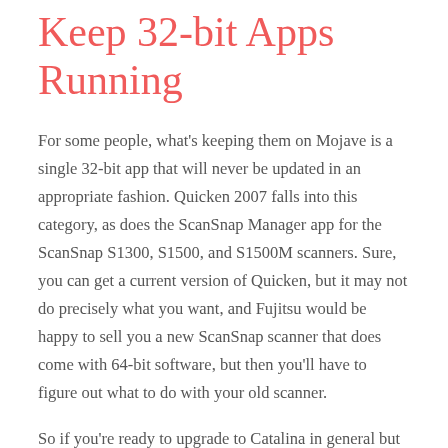Keep 32-bit Apps Running
For some people, what's keeping them on Mojave is a single 32-bit app that will never be updated in an appropriate fashion. Quicken 2007 falls into this category, as does the ScanSnap Manager app for the ScanSnap S1300, S1500, and S1500M scanners. Sure, you can get a current version of Quicken, but it may not do precisely what you want, and Fujitsu would be happy to sell you a new ScanSnap scanner that does come with 64-bit software, but then you'll have to figure out what to do with your old scanner.
So if you're ready to upgrade to Catalina in general but